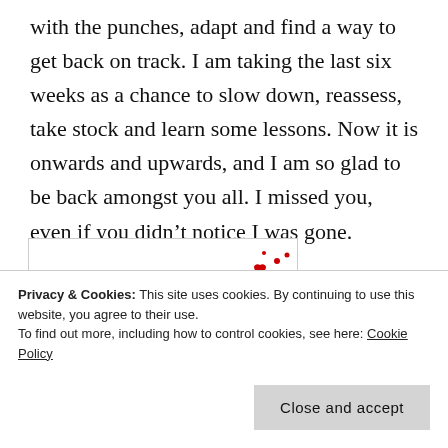with the punches, adapt and find a way to get back on track. I am taking the last six weeks as a chance to slow down, reassess, take stock and learn some lessons. Now it is onwards and upwards, and I am so glad to be back amongst you all. I missed you, even if you didn't notice I was gone.
[Figure (illustration): Illustration of a dark cartoon animal (cat or similar) lying down, surrounded by floating red hearts scattered upward to the right]
Privacy & Cookies: This site uses cookies. By continuing to use this website, you agree to their use.
To find out more, including how to control cookies, see here: Cookie Policy

Close and accept